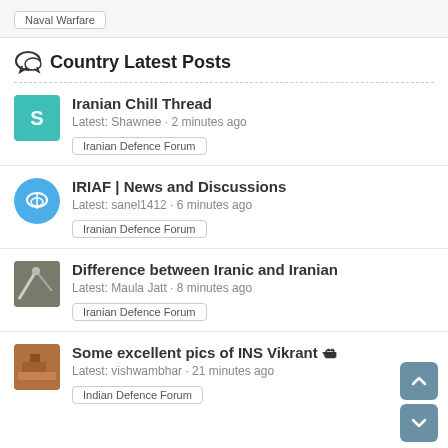Naval Warfare
Country Latest Posts
Iranian Chill Thread
Latest: Shawnee · 2 minutes ago
Iranian Defence Forum
IRIAF | News and Discussions
Latest: sanel1412 · 6 minutes ago
Iranian Defence Forum
Difference between Iranic and Iranian
Latest: Maula Jatt · 8 minutes ago
Iranian Defence Forum
Some excellent pics of INS Vikrant 🛳
Latest: vishwambhar · 21 minutes ago
Indian Defence Forum
Major banks cut ties with Russia-backed Indian refiner